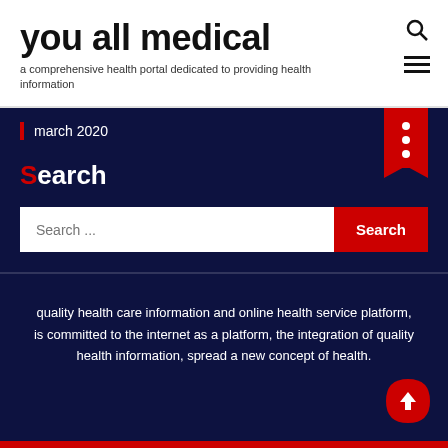you all medical
a comprehensive health portal dedicated to providing health information
march 2020
Search
quality health care information and online health service platform, is committed to the internet as a platform, the integration of quality health information, spread a new concept of health.